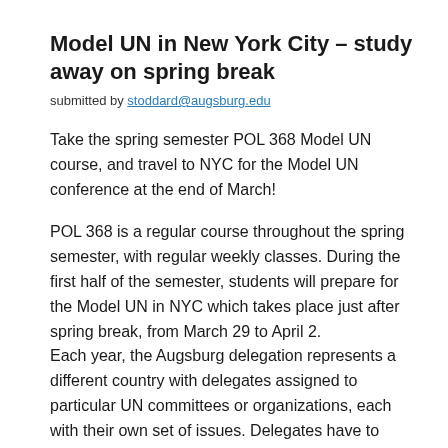Model UN in New York City – study away on spring break
submitted by stoddard@augsburg.edu
Take the spring semester POL 368 Model UN course, and travel to NYC for the Model UN conference at the end of March!
POL 368 is a regular course throughout the spring semester, with regular weekly classes. During the first half of the semester, students will prepare for the Model UN in NYC which takes place just after spring break, from March 29 to April 2. Each year, the Augsburg delegation represents a different country with delegates assigned to particular UN committees or organizations, each with their own set of issues. Delegates have to understand the challenges of representing that